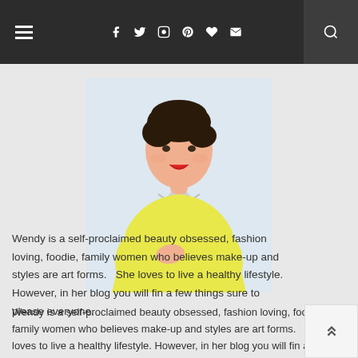Navigation bar with hamburger menu, social icons (Facebook, Twitter, Instagram, Pinterest, heart, email), and search
[Figure (photo): Portrait photo of a young woman with short dark hair, red lipstick, wearing a yellow sleeveless top and a silver statement necklace, arms crossed, smiling, on a light blue background]
Wendy is a self-proclaimed beauty obsessed, fashion loving, foodie, family women who believes make-up and styles are art forms.   She loves to live a healthy lifestyle. However, in her blog you will find a few things sure to please everyone.